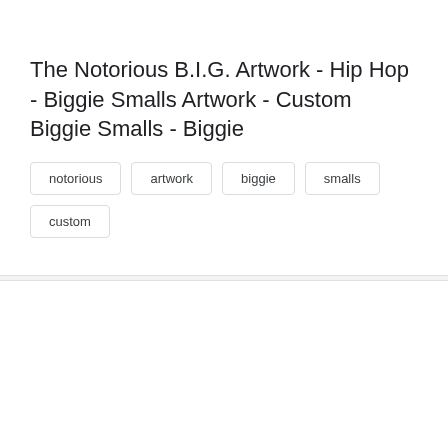The Notorious B.I.G. Artwork - Hip Hop - Biggie Smalls Artwork - Custom Biggie Smalls - Biggie
notorious
artwork
biggie
smalls
custom
[Figure (photo): A framed artwork showing a colorful crown on an orange/yellow background. The crown is red/orange with multicolor details, in a thick black frame.]